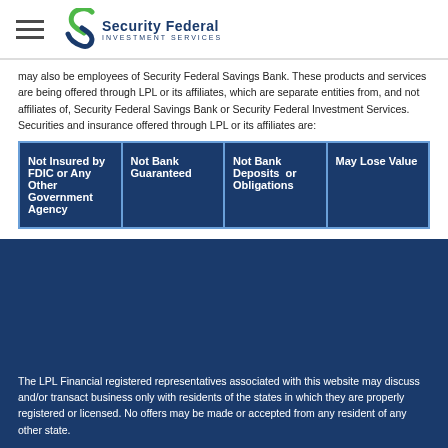Security Federal Investment Services
may also be employees of Security Federal Savings Bank. These products and services are being offered through LPL or its affiliates, which are separate entities from, and not affiliates of, Security Federal Savings Bank or Security Federal Investment Services. Securities and insurance offered through LPL or its affiliates are:
| Not Insured by FDIC or Any Other Government Agency | Not Bank Guaranteed | Not Bank Deposits or Obligations | May Lose Value |
| --- | --- | --- | --- |
The LPL Financial registered representatives associated with this website may discuss and/or transact business only with residents of the states in which they are properly registered or licensed. No offers may be made or accepted from any resident of any other state.